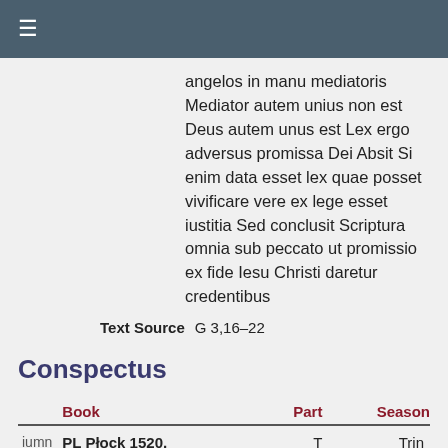≡
angelos in manu mediatoris Mediator autem unius non est Deus autem unus est Lex ergo adversus promissa Dei Absit Si enim data esset lex quae posset vivificare vere ex lege esset iustitia Sed conclusit Scriptura omnia sub peccato ut promissio ex fide Iesu Christi daretur credentibus
Text Source  G 3,16–22
Conspectus
|  | Book | Part | Season |
| --- | --- | --- | --- |
| iumn | PL Płock 1520, | T | Trin |